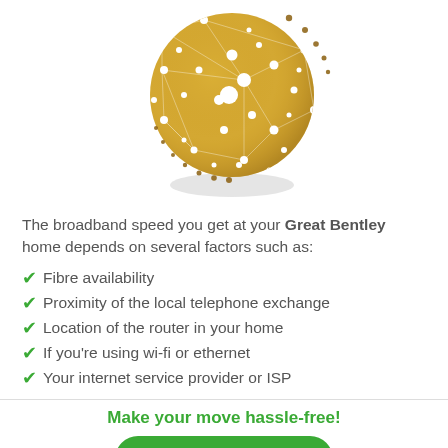[Figure (illustration): A golden globe/sphere with white dots and network lines, with a dotted orbital ring around it and a light grey shadow beneath it.]
The broadband speed you get at your Great Bentley home depends on several factors such as:
Fibre availability
Proximity of the local telephone exchange
Location of the router in your home
If you're using wi-fi or ethernet
Your internet service provider or ISP
Make your move hassle-free!
Free callback